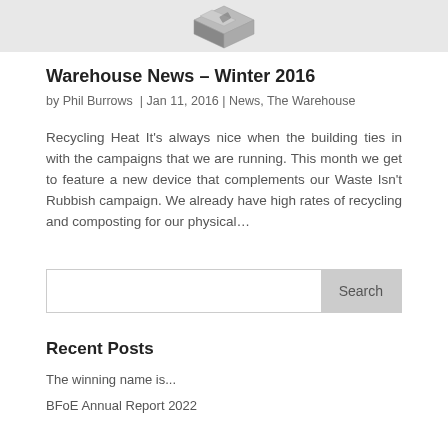[Figure (illustration): Isometric illustration of a printing or office machine device shown from top-left angle]
Warehouse News – Winter 2016
by Phil Burrows  |  Jan 11, 2016  |  News, The Warehouse
Recycling Heat It's always nice when the building ties in with the campaigns that we are running. This month we get to feature a new device that complements our Waste Isn't Rubbish campaign. We already have high rates of recycling and composting for our physical...
Search
Recent Posts
The winning name is...
BFoE Annual Report 2022